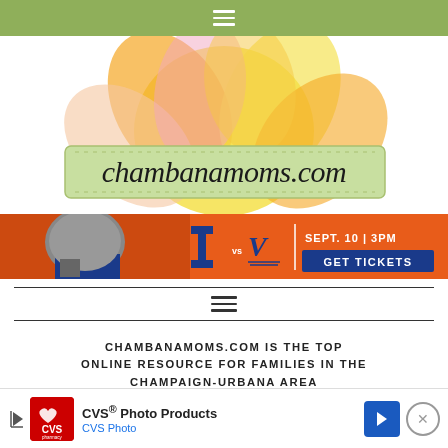Navigation menu bar
[Figure (logo): chambanamoms.com logo with colorful flower/balloon graphic in background and green ribbon banner with site name in script font]
[Figure (infographic): Illinois Fighting Illini football advertisement banner: orange background, football player in helmet, Illinois 'I' logo vs Virginia 'V' logo, text SEPT. 10 | 3PM GET TICKETS]
[Figure (other): Hamburger menu icon between two horizontal rules]
CHAMBANAMOMS.COM IS THE TOP ONLINE RESOURCE FOR FAMILIES IN THE CHAMPAIGN-URBANA AREA
[Figure (infographic): CVS Photo Products advertisement: CVS pharmacy logo, play button, text CVS Photo Products / CVS Photo, blue arrow navigation button, close X button]